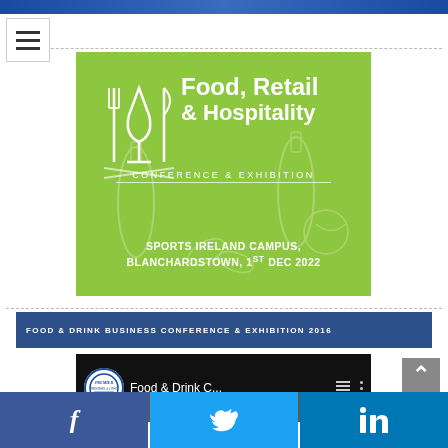[Figure (illustration): Top blue banner strip across the full page width]
[Figure (illustration): Hamburger menu icon (three horizontal lines) in a white square box on the left side]
[Figure (illustration): Green conference banner image for Food, Retail & Hospitality Conference & Exhibition, showing wine glass and cutlery icon, with text: Food, Retail & Hospitality CONFERENCE & EXHIBITION, SPORTS IRELAND CAMPUS, BLANCHARDSTOWN, 1ST DEC 2022, on a lime-green background with faint food/drink illustrations]
FOOD & DRINK BUSINESS CONFERENCE & EXHIBITION 2016
[Figure (screenshot): Video thumbnail with black background showing Premier logo (circular), text 'Food & Drink C...', menu icon bars, and three-dot menu icon]